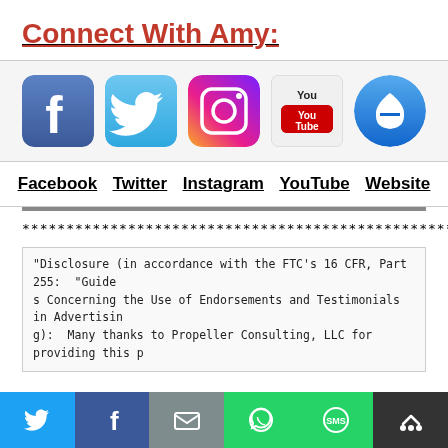Connect With Amy:
[Figure (infographic): Row of 5 social media icons: Facebook (blue rounded square with white 'f'), Twitter (blue rounded square with white bird), Instagram (gradient rounded square with camera icon), YouTube (white rounded square with red YouTube logo), Website (blue circle with white house icon)]
Facebook   Twitter   Instagram   YouTube   Website
************************************************************
"Disclosure (in accordance with the FTC's 16 CFR, Part 255:  "Guides Concerning the Use of Endorsements and Testimonials in Advertising):  Many thanks to Propeller Consulting, LLC for providing this p
[Figure (infographic): Bottom social sharing bar with 6 buttons: Twitter (light blue), Facebook (dark blue), Email/envelope (gray), WhatsApp (green), SMS (green), More/expand (black)]